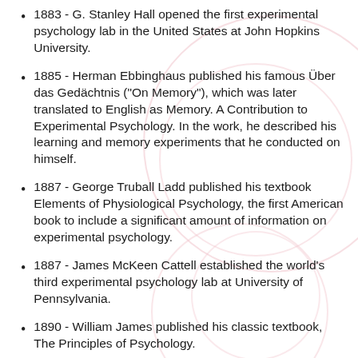1883 - G. Stanley Hall opened the first experimental psychology lab in the United States at John Hopkins University.
1885 - Herman Ebbinghaus published his famous Über das Gedächtnis ("On Memory"), which was later translated to English as Memory. A Contribution to Experimental Psychology. In the work, he described his learning and memory experiments that he conducted on himself.
1887 - George Truball Ladd published his textbook Elements of Physiological Psychology, the first American book to include a significant amount of information on experimental psychology.
1887 - James McKeen Cattell established the world's third experimental psychology lab at University of Pennsylvania.
1890 - William James published his classic textbook, The Principles of Psychology.
1891 - Mary Whiton Calkins established